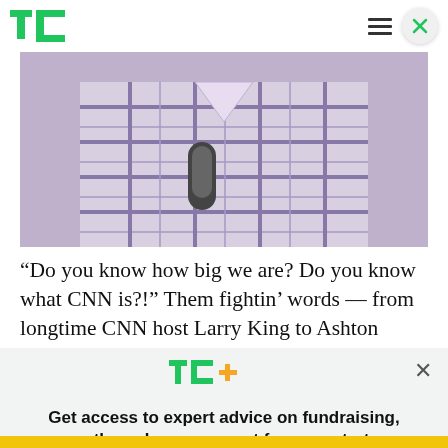TechCrunch — navigation header with TC logo, hamburger menu, and close button
[Figure (photo): Close-up photo of a person in a plaid/checkered shirt holding a microphone, cropped to show chest and neck area only]
“Do you know how big we are? Do you know what CNN is?!” Them fightin’ words — from longtime CNN host Larry King to Ashton Kutcher. King sent
[Figure (screenshot): TC+ promotional modal overlay with TC+ logo, headline, and Explore Now button]
Get access to expert advice on fundraising, growth, and management for your startup.
EXPLORE NOW